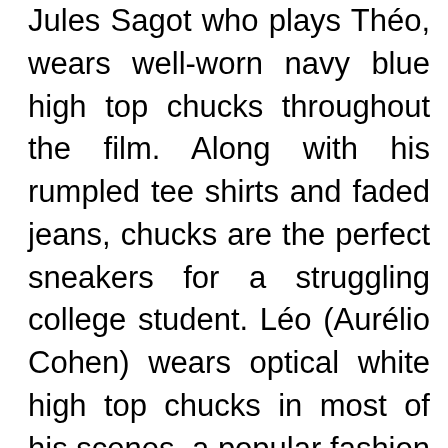Jules Sagot who plays Théo, wears well-worn navy blue high top chucks throughout the film. Along with his rumpled tee shirts and faded jeans, chucks are the perfect sneakers for a struggling college student. Léo (Aurélio Cohen) wears optical white high top chucks in most of his scenes, a popular fashion choice for a twelve-year-old kid. The camera work is chucks friendly in this film, with many fully framed shots of Léo and Théo. The best chucks scene is when Théo is waiting to hear